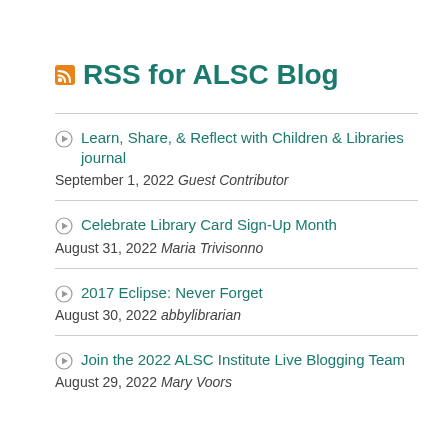RSS for ALSC Blog
Learn, Share, & Reflect with Children & Libraries journal — September 1, 2022 Guest Contributor
Celebrate Library Card Sign-Up Month — August 31, 2022 Maria Trivisonno
2017 Eclipse: Never Forget — August 30, 2022 abbylibrarian
Join the 2022 ALSC Institute Live Blogging Team — August 29, 2022 Mary Voors